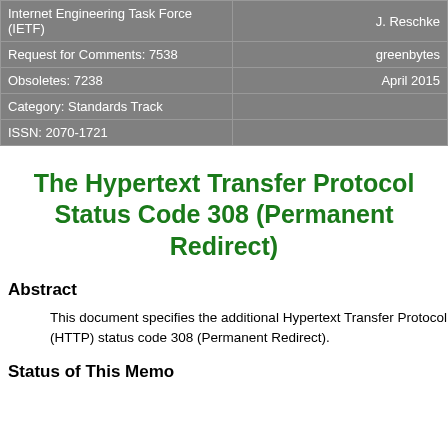| Internet Engineering Task Force (IETF) | J. Reschke |
| Request for Comments: 7538 | greenbytes |
| Obsoletes: 7238 | April 2015 |
| Category: Standards Track |  |
| ISSN: 2070-1721 |  |
The Hypertext Transfer Protocol Status Code 308 (Permanent Redirect)
Abstract
This document specifies the additional Hypertext Transfer Protocol (HTTP) status code 308 (Permanent Redirect).
Status of This Memo